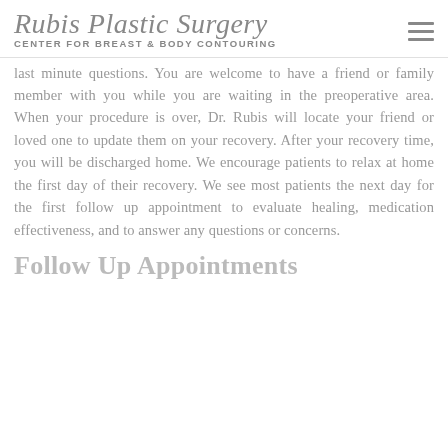Rubis Plastic Surgery CENTER for BREAST & BODY CONTOURING
last minute questions. You are welcome to have a friend or family member with you while you are waiting in the preoperative area. When your procedure is over, Dr. Rubis will locate your friend or loved one to update them on your recovery. After your recovery time, you will be discharged home. We encourage patients to relax at home the first day of their recovery. We see most patients the next day for the first follow up appointment to evaluate healing, medication effectiveness, and to answer any questions or concerns.
Follow Up Appointments